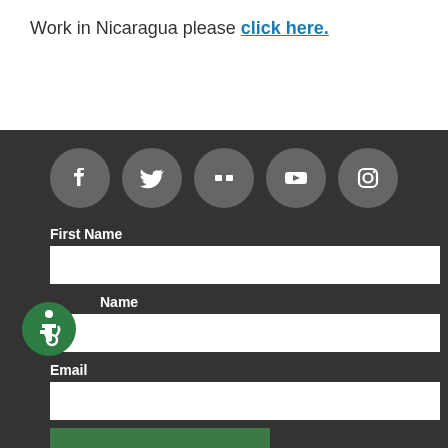Work in Nicaragua please click here.
[Figure (infographic): Five social media icons (Facebook, Twitter, Flickr, YouTube, Instagram) as white icons on gray circles]
First Name
Last Name
Email
SUBSCRIBE
[Figure (logo): Accessibility icon — white wheelchair user symbol on green circle]
Copyright 2022. GRID Alternatives